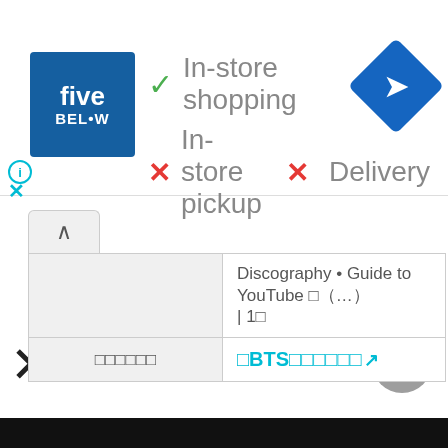[Figure (screenshot): Five Below store ad banner showing in-store shopping (checkmark), in-store pickup (X), and delivery (X) status, with Five Below logo and Google Maps icon]
| （partially visible） | Discography • Guide to YouTube □（…）| 1□ |
| □□□□□□ | □BTS□□□□□□ [external link] |
[Figure (screenshot): Large X close button and scroll-to-top circular button on white background]